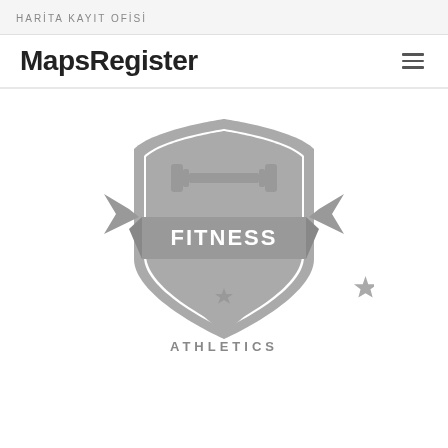HARİTA KAYIT OFİSİ
MapsRegister
[Figure (logo): Fitness Athletics badge/shield logo in gray, featuring a barbell dumbbell icon at the top, a shield shape with 'FITNESS' text in bold white letters on gray banner, a chevron/arrow shape below, three stars (one centered small, two large flanking), and 'ATHLETICS' text at the bottom in uppercase gray letters.]